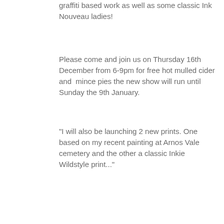graffiti based work as well as some classic Ink Nouveau ladies!
Please come and join us on Thursday 16th December from 6-9pm for free hot mulled cider and  mince pies the new show will run until Sunday the 9th January.
"I will also be launching 2 new prints. One based on my recent painting at Arnos Vale cemetery and the other a classic Inkie Wildstyle print..."
[Figure (photo): A person painting a large mural featuring an Art Nouveau-style woman with flowing hair and floral elements, with red graffiti-style designs in the background.]